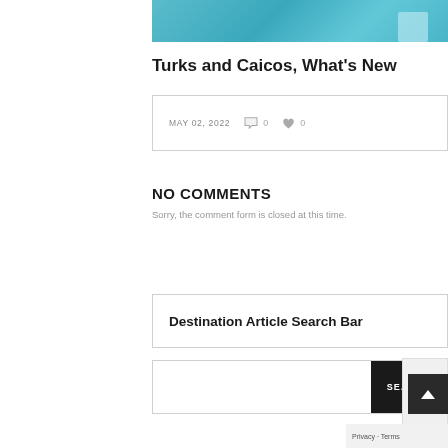[Figure (photo): Aerial or overhead photo of turquoise water with a person or platform visible at the edge]
Turks and Caicos, What's New
MAY 02, 2022  💬 0  ❤ 0
NO COMMENTS
Sorry, the comment form is closed at this time.
Destination Article Search Bar
SEARCH